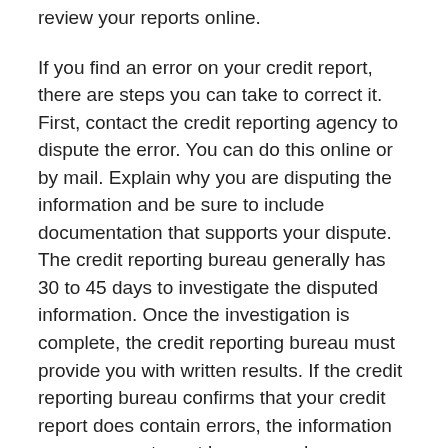review your reports online.
If you find an error on your credit report, there are steps you can take to correct it. First, contact the credit reporting agency to dispute the error. You can do this online or by mail. Explain why you are disputing the information and be sure to include documentation that supports your dispute. The credit reporting bureau generally has 30 to 45 days to investigate the disputed information. Once the investigation is complete, the credit reporting bureau must provide you with written results. If the credit reporting bureau confirms that your credit report does contain errors, the information on your report must be removed or corrected.
If you do not agree with the credit bureau's investigation results, you can ask that a statement of the dispute be included in your file and in future reports. You can also contact the creditor that reported the information to the credit reporting